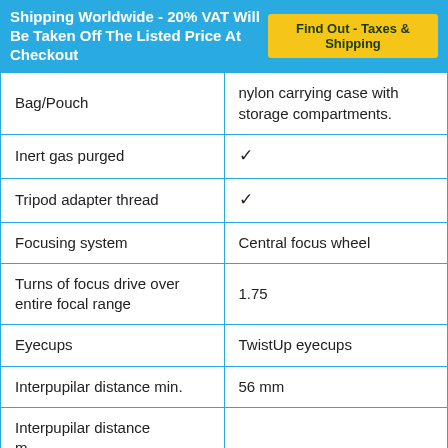Shipping Worldwide - 20% VAT Will Be Taken Off The Listed Price At Checkout   Find Out - Taxes & Shipping
| Feature | Value |
| --- | --- |
| Bag/Pouch | nylon carrying case with storage compartments. |
| Inert gas purged | ✓ |
| Tripod adapter thread | ✓ |
| Focusing system | Central focus wheel |
| Turns of focus drive over entire focal range | 1.75 |
| Eyecups | TwistUp eyecups |
| Interpupilar distance min. | 56 mm |
| Interpupilar distance m... | 76 mm |